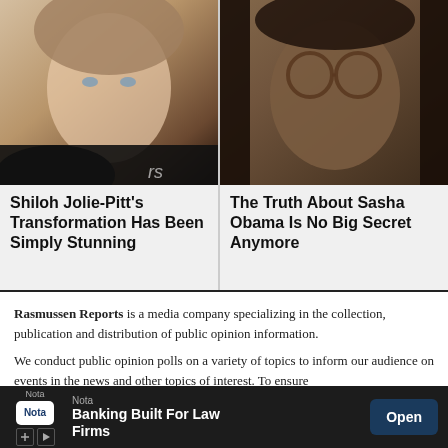[Figure (photo): Close-up photo of Shiloh Jolie-Pitt, a young woman with light eyes and blonde hair, at what appears to be an event. Partial text 'rs' visible in corner.]
Shiloh Jolie-Pitt's Transformation Has Been Simply Stunning
[Figure (photo): Close-up photo of Sasha Obama, a young Black woman wearing round tortoiseshell glasses.]
The Truth About Sasha Obama Is No Big Secret Anymore
Rasmussen Reports is a media company specializing in the collection, publication and distribution of public opinion information.
We conduct public opinion polls on a variety of topics to inform our audience on events in the news and other topics of interest. To ensure
oll... elves and res... hips and scti...
[Figure (screenshot): Advertisement banner for Nota - Banking Built For Law Firms with an Open button. Dark background with Nota logo, X and play icons.]